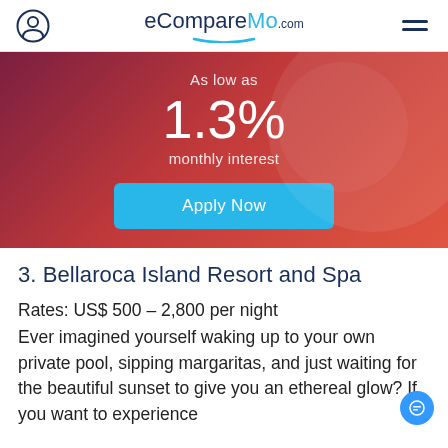eCompareMo.com
[Figure (infographic): Red gradient banner showing 'As low as 1.3% monthly interest' with a blue 'Apply Now' button]
3. Bellaroca Island Resort and Spa
Rates: US$ 500 – 2,800 per night
Ever imagined yourself waking up to your own private pool, sipping margaritas, and just waiting for the beautiful sunset to give you an ethereal glow? If you want to experience